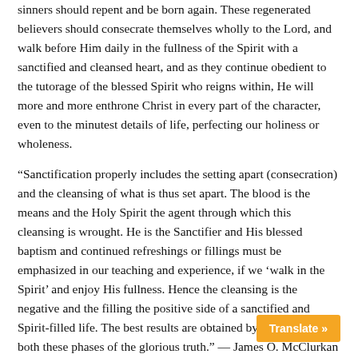sinners should repent and be born again. These regenerated believers should consecrate themselves wholly to the Lord, and walk before Him daily in the fullness of the Spirit with a sanctified and cleansed heart, and as they continue obedient to the tutorage of the blessed Spirit who reigns within, He will more and more enthrone Christ in every part of the character, even to the minutest details of life, perfecting our holiness or wholeness.
“Sanctification properly includes the setting apart (consecration) and the cleansing of what is thus set apart. The blood is the means and the Holy Spirit the agent through which this cleansing is wrought. He is the Sanctifier and His blessed baptism and continued refreshings or fillings must be emphasized in our teaching and experience, if we ‘walk in the Spirit’ and enjoy His fullness. Hence the cleansing is the negative and the filling the positive side of a sanctified and Spirit-filled life. The best results are obtained by emphasizing both these phases of the glorious truth.” — James O. McClurkan
The same writer said, “Are there not some